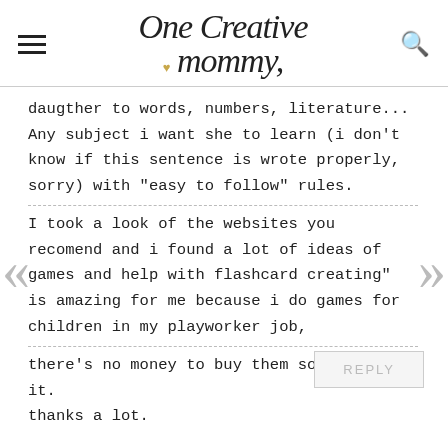One Creative Mommy
daugther to words, numbers, literature... Any subject i want she to learn (i don't know if this sentence is wrote properly, sorry) with "easy to follow" rules.

I took a look of the websites you recomend and i found a lot of ideas of games and help with flashcard creating" is amazing for me because i do games for children in my playworker job, there's no money to buy them so i creat it. thanks a lot.